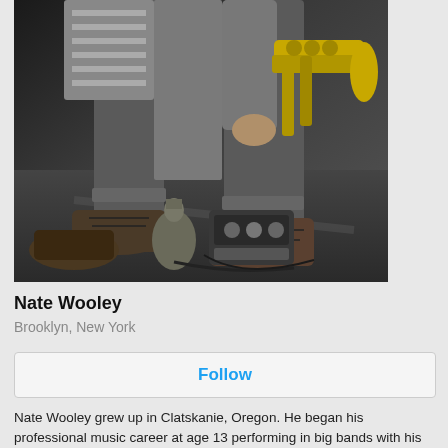[Figure (photo): Black and white photo of a person (Nate Wooley) holding a trumpet, shown from chest down, wearing boots and a striped shirt, standing near a guitar effects pedal and other objects on the floor.]
Nate Wooley
Brooklyn, New York
Follow
Nate Wooley grew up in Clatskanie, Oregon. He began his professional music career at age 13 performing in big bands with his father, and studied jazz and classical trumpet at the University of Oregon and University of Denver. He settled in New York in 2001, and maintains an